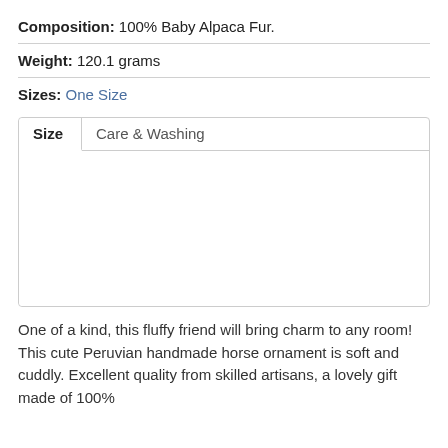Composition: 100% Baby Alpaca Fur.
Weight: 120.1 grams
Sizes: One Size
| Size | Care & Washing |
| --- | --- |
One of a kind, this fluffy friend will bring charm to any room! This cute Peruvian handmade horse ornament is soft and cuddly. Excellent quality from skilled artisans, a lovely gift made of 100%